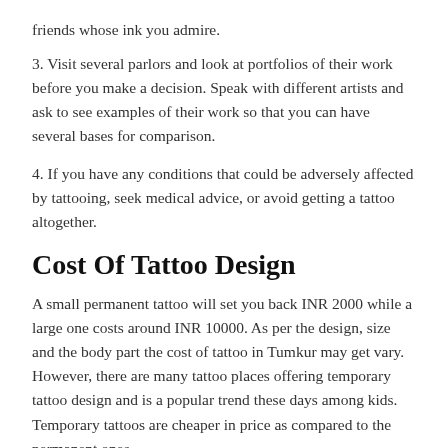friends whose ink you admire.
3. Visit several parlors and look at portfolios of their work before you make a decision. Speak with different artists and ask to see examples of their work so that you can have several bases for comparison.
4. If you have any conditions that could be adversely affected by tattooing, seek medical advice, or avoid getting a tattoo altogether.
Cost Of Tattoo Design
A small permanent tattoo will set you back INR 2000 while a large one costs around INR 10000. As per the design, size and the body part the cost of tattoo in Tumkur may get vary. However, there are many tattoo places offering temporary tattoo design and is a popular trend these days among kids. Temporary tattoos are cheaper in price as compared to the permanent ones.
Getting a tattoo is a wonderful way to express your individuality or